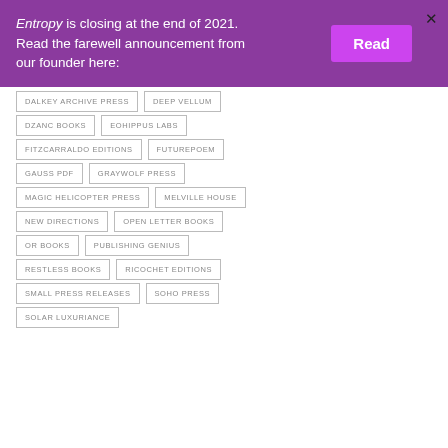Entropy is closing at the end of 2021. Read the farewell announcement from our founder here:
DALKEY ARCHIVE PRESS
DEEP VELLUM
DZANC BOOKS
EOHIPPUS LABS
FITZCARRALDO EDITIONS
FUTUREPOEM
GAUSS PDF
GRAYWOLF PRESS
MAGIC HELICOPTER PRESS
MELVILLE HOUSE
NEW DIRECTIONS
OPEN LETTER BOOKS
OR BOOKS
PUBLISHING GENIUS
RESTLESS BOOKS
RICOCHET EDITIONS
SMALL PRESS RELEASES
SOHO PRESS
SOLAR LUXURIANCE